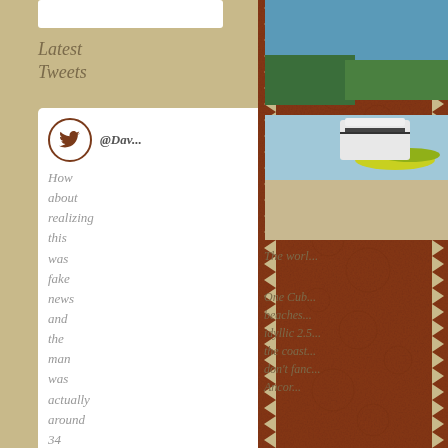Latest Tweets
@Dav... How about realizing this was fake news and the man was actually around 34 years old,
[Figure (photo): Beach scene with kayaks and boats on sandy shore with palm trees and blue water in background]
The worl...
One Cub... beaches... idyllic 2.5... the coast... don't fanc... Ancor...